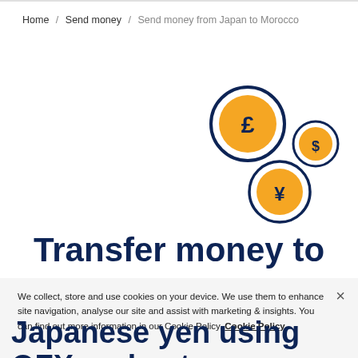Home / Send money / Send money from Japan to Morocco
[Figure (illustration): Three circular currency coin icons: a large pound sterling (£) coin in navy and orange, a small dollar ($) coin in navy and orange, and a medium yen (¥) coin in navy and orange, arranged decoratively on the upper right portion of the page.]
Transfer money to
We collect, store and use cookies on your device. We use them to enhance site navigation, analyse our site and assist with marketing & insights. You can find out more information in our Cookie Policy. Cookie Policy
Japanese yen using OFX and get great foreign currency exchange